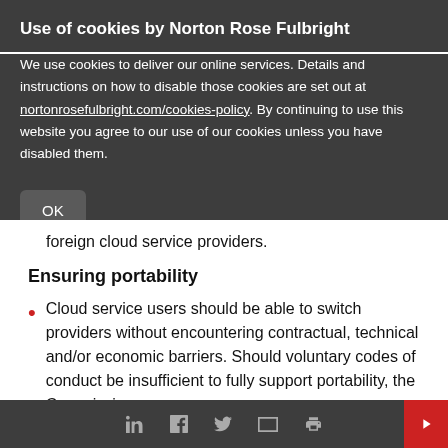Use of cookies by Norton Rose Fulbright
We use cookies to deliver our online services. Details and instructions on how to disable those cookies are set out at nortonrosefulbright.com/cookies-policy. By continuing to use this website you agree to our use of our cookies unless you have disabled them.
foreign cloud service providers.
Ensuring portability
Cloud service users should be able to switch providers without encountering contractual, technical and/or economic barriers. Should voluntary codes of conduct be insufficient to fully support portability, the Commission may
social media icons: LinkedIn, Facebook, Twitter, Email, Print